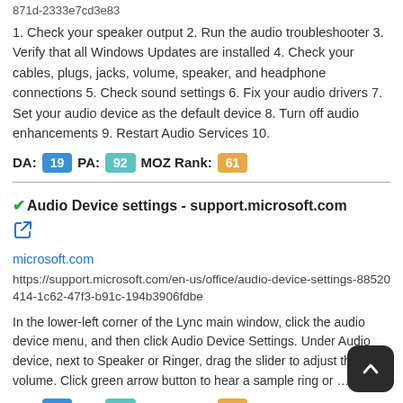871d-2333e7cd3e83
1. Check your speaker output 2. Run the audio troubleshooter 3. Verify that all Windows Updates are installed 4. Check your cables, plugs, jacks, volume, speaker, and headphone connections 5. Check sound settings 6. Fix your audio drivers 7. Set your audio device as the default device 8. Turn off audio enhancements 9. Restart Audio Services 10.
DA: 19  PA: 92  MOZ Rank: 61
Audio Device settings - support.microsoft.com
microsoft.com
https://support.microsoft.com/en-us/office/audio-device-settings-88520414-1c62-47f3-b91c-194b3906fdbe
In the lower-left corner of the Lync main window, click the audio device menu, and then click Audio Device Settings. Under Audio device, next to Speaker or Ringer, drag the slider to adjust the volume. Click green arrow button to hear a sample ring or …
DA: 66  PA: 41  MOZ Rank: 36